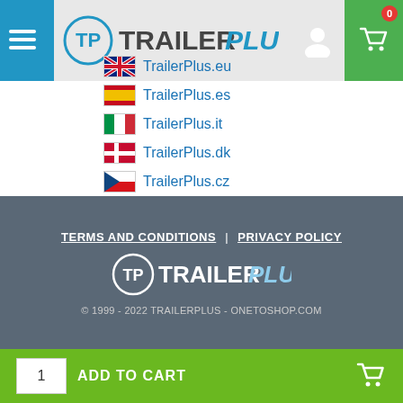[Figure (logo): TrailerPlus logo with hamburger menu, user icon, and shopping cart with badge showing 0]
TrailerPlus.eu
TrailerPlus.es
TrailerPlus.it
TrailerPlus.dk
TrailerPlus.cz
TrailerPlus.pl
TERMS AND CONDITIONS | PRIVACY POLICY
TrailerPlus logo
© 1999 - 2022 TRAILERPLUS - ONETOSHOP.COM
1  ADD TO CART